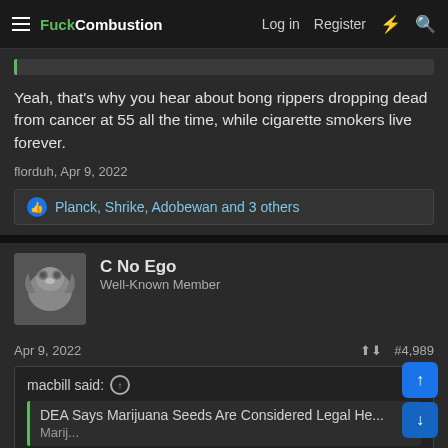FuckCombustion — Log in   Register
Yeah, that's why you hear about bong rippers dropping dead from cancer at 55 all the time, while cigarette smokers live forever.
florduh, Apr 9, 2022
Planck, Shrike, Adobewan and 3 others
C No Ego
Well-Known Member
Apr 9, 2022
#4,989
macbill said:
DEA Says Marijuana Seeds Are Considered Legal He...